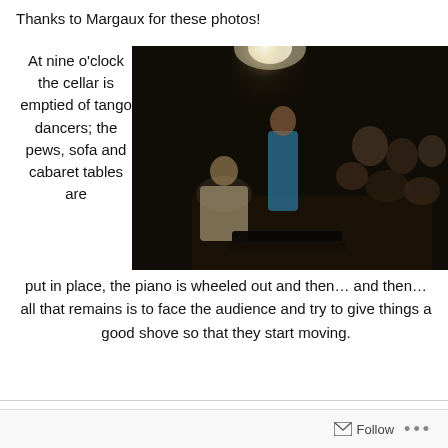Thanks to Margaux for these photos!
At nine o'clock the cellar is emptied of tango dancers; the pews, sofa and cabaret tables are
[Figure (photo): Dark indoor scene showing a performer standing and holding something, facing a seated audience in a dimly lit cellar/cabaret venue. A bright light shines from above. Several audience members visible on the right side.]
put in place, the piano is wheeled out and then… and then… all that remains is to face the audience and try to give things a good shove so that they start moving.
Follow